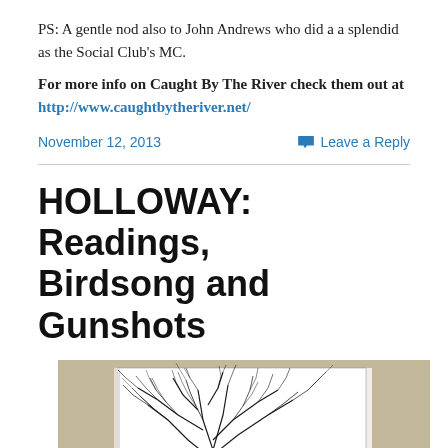PS: A gentle nod also to John Andrews who did a a splendid as the Social Club's MC.
For more info on Caught By The River check them out at http://www.caughtbytheriver.net/
November 12, 2013    Leave a Reply
HOLLOWAY: Readings, Birdsong and Gunshots
[Figure (photo): A book with an intricate black and white tree branch illustration on the cover, photographed on a beige/tan background.]